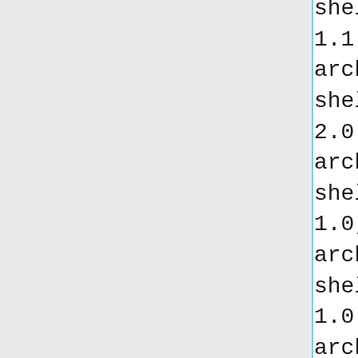sheldor.nano.Foilist 2.0.0,http://robocode-archive.strangeautomata.com/rob sheldor.nano.PointInLine 1.0,http://robocode-archive.strangeautomata.com/rob sheldor.nano.PointInLineRRAL 1.0.0,http://robocode-archive.strangeautomata.com/rob sheldor.nano.Retreat 1.0,http://robocode-archive.strangeautomata.com/rob sheldor.nano.Sabreur 1.1.2,http://robocode-archive.strangeautomata.com/rob sheldor.nano.Sabreuse 1.0.0,http://robocode-archive.strangeautomata.com/rob shinh.Entangled 0.3,http://robocode-archive.strangeautomata.com/rob shrub.Silver